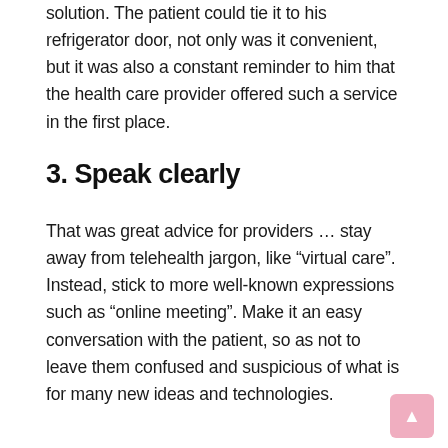solution. The patient could tie it to his refrigerator door, not only was it convenient, but it was also a constant reminder to him that the health care provider offered such a service in the first place.
3. Speak clearly
That was great advice for providers … stay away from telehealth jargon, like “virtual care”. Instead, stick to more well-known expressions such as “online meeting”. Make it an easy conversation with the patient, so as not to leave them confused and suspicious of what is for many new ideas and technologies.